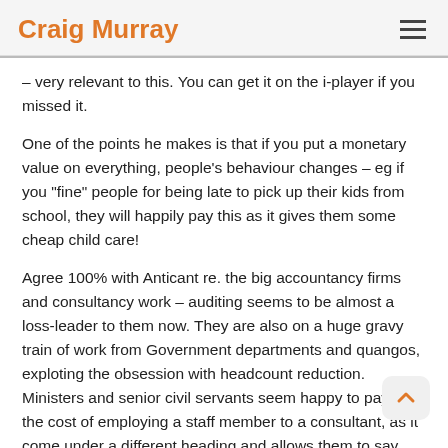Craig Murray
– very relevant to this. You can get it on the i-player if you missed it.
One of the points he makes is that if you put a monetary value on everything, people's behaviour changes – eg if you "fine" people for being late to pick up their kids from school, they will happily pay this as it gives them some cheap child care!
Agree 100% with Anticant re. the big accountancy firms and consultancy work – auditing seems to be almost a loss-leader to them now. They are also on a huge gravy train of work from Government departments and quangos, exploting the obsession with headcount reduction. Ministers and senior civil servants seem happy to pay 5x the cost of employing a staff member to a consultant, as it come under a different heading and allows them to say they've cut staffing costs.
Ditto the big IT firms, they are making a fortune designing systems that don't work and specifying solutions to problems